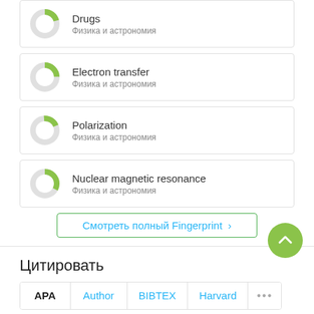[Figure (donut-chart): Donut chart for Drugs fingerprint item, Физика и астрономия]
Drugs
Физика и астрономия
[Figure (donut-chart): Donut chart for Electron transfer fingerprint item, Физика и астрономия]
Electron transfer
Физика и астрономия
[Figure (donut-chart): Donut chart for Polarization fingerprint item, Физика и астрономия]
Polarization
Физика и астрономия
[Figure (donut-chart): Donut chart for Nuclear magnetic resonance fingerprint item, Физика и астрономия]
Nuclear magnetic resonance
Физика и астрономия
Смотреть полный Fingerprint ›
Цитировать
APA  Author  BIBTEX  Harvard  ...
Polyakov, N., Ageeva, A., Kiryutin, A., Timoshnikov, V.